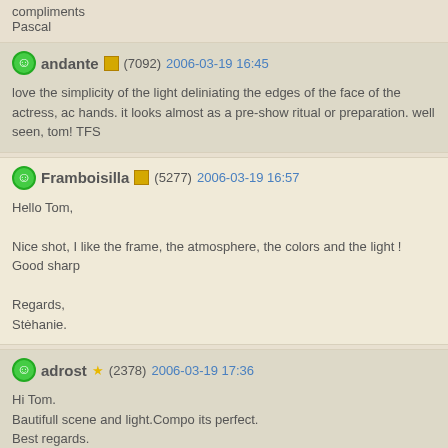compliments
Pascal
andante (7092) 2006-03-19 16:45
love the simplicity of the light deliniating the edges of the face of the actress, ac hands. it looks almost as a pre-show ritual or preparation. well seen, tom! TFS
Framboisilla (5277) 2006-03-19 16:57
Hello Tom,

Nice shot, I like the frame, the atmosphere, the colors and the light ! Good sharp

Regards,
Stéhanie.
adrost (2378) 2006-03-19 17:36
Hi Tom.
Bautifull scene and light.Compo its perfect.
Best regards.
Adam